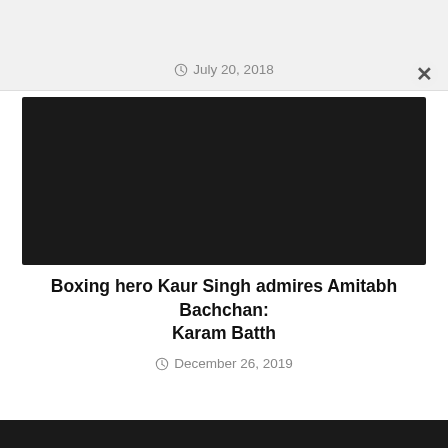July 20, 2018
[Figure (photo): Dark/black image placeholder]
Boxing hero Kaur Singh admires Amitabh Bachchan: Karam Batth
December 26, 2019